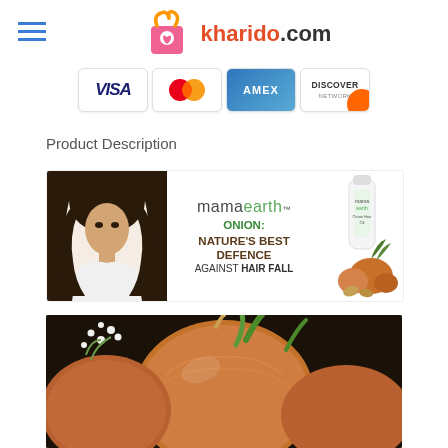[Figure (logo): kharido.com logo with shopping bag icon and hamburger menu]
[Figure (illustration): Payment method icons: VISA, MasterCard, AMEX, DISCOVER]
Product Description
[Figure (illustration): Mamaearth banner: woman with dark hair, mamaearth logo, text ONION: NATURE'S BEST DEFENCE AGAINST HAIR FALL, product bottle with onions]
[Figure (photo): Close-up photo of onions with green stems and white flowers on dark background]